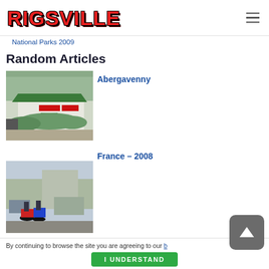RIGSVILLE
National Parks 2009
Random Articles
[Figure (photo): Photo of a small building with a green roof and Coca-Cola signs, with hedges in front, car park visible]
Abergavenny
[Figure (photo): Photo of motorcycles and people in a car park with vehicles in the background]
France – 2008
By continuing to browse the site you are agreeing to our b...
I UNDERSTAND